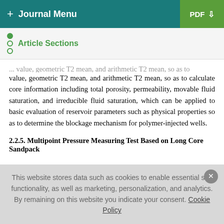+ Journal Menu   PDF ↓
Article Sections
... value, geometric T2 mean, and arithmetic T2 mean, so as to calculate core information including total porosity, permeability, movable fluid saturation, and irreducible fluid saturation, which can be applied to basic evaluation of reservoir parameters such as physical properties so as to determine the blockage mechanism for polymer-injected wells.
2.2.5. Multipoint Pressure Measuring Test Based on Long Core Sandpack
This website stores data such as cookies to enable essential site functionality, as well as marketing, personalization, and analytics. By remaining on this website you indicate your consent. Cookie Policy